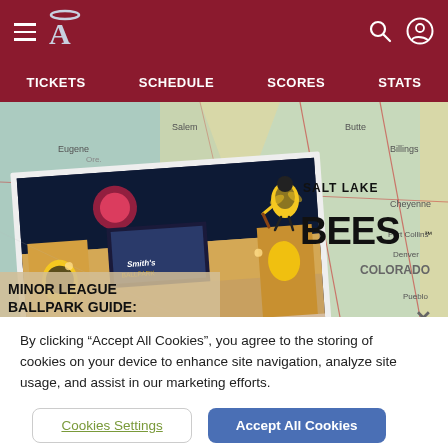Angels Baseball — TICKETS | SCHEDULE | SCORES | STATS
[Figure (screenshot): Website screenshot showing Salt Lake Bees minor league ballpark guide. Background is a geographic map showing the western US states (Oregon, Idaho, California, Colorado). In the foreground is a photo of Smith's Ballpark at night with fireworks and a large bee mascot mural. The Salt Lake Bees logo (bee mascot with BEES text) is overlaid on the map. Text overlay reads: MINOR LEAGUE BALLPARK GUIDE:]
By clicking “Accept All Cookies”, you agree to the storing of cookies on your device to enhance site navigation, analyze site usage, and assist in our marketing efforts.
Cookies Settings
Accept All Cookies